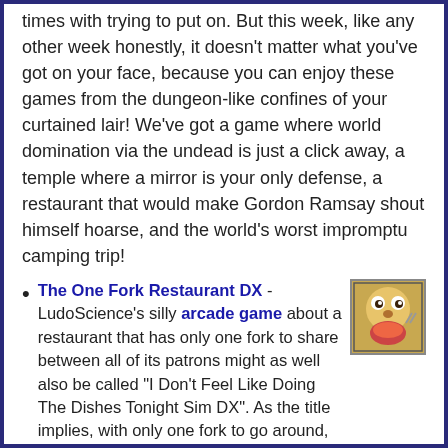times with trying to put on. But this week, like any other week honestly, it doesn't matter what you've got on your face, because you can enjoy these games from the dungeon-like confines of your curtained lair! We've got a game where world domination via the undead is just a click away, a temple where a mirror is your only defense, a restaurant that would make Gordon Ramsay shout himself hoarse, and the world's worst impromptu camping trip!
The One Fork Restaurant DX - LudoScience's silly arcade game about a restaurant that has only one fork to share between all of its patrons might as well also be called "I Don't Feel Like Doing The Dishes Tonight Sim DX". As the title implies, with only one fork to go around, customers have to share, but their patience rapidly depletes while they're waiting for their turn. How long can you keep everyone happy and plates cleared?
Alone: Zombiewoods - Goody